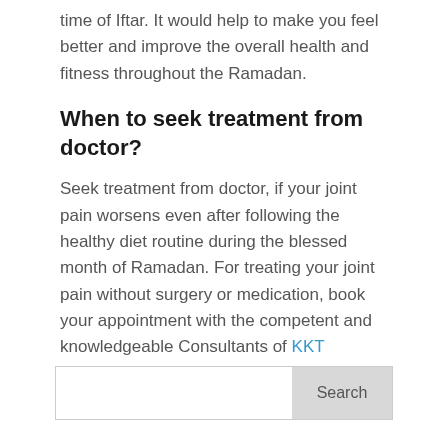time of Iftar. It would help to make you feel better and improve the overall health and fitness throughout the Ramadan.
When to seek treatment from doctor?
Seek treatment from doctor, if your joint pain worsens even after following the healthy diet routine during the blessed month of Ramadan. For treating your joint pain without surgery or medication, book your appointment with the competent and knowledgeable Consultants of KKT Orthopedic Spine Center.